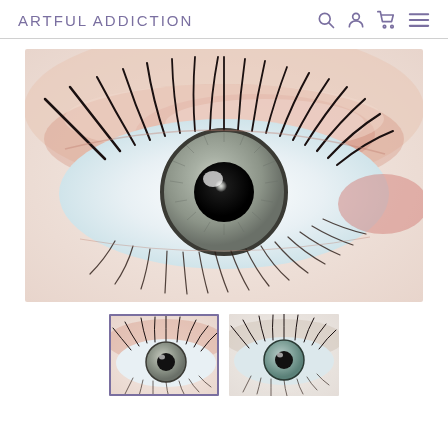ARTFUL ADDICTION
[Figure (photo): Close-up macro photo of a human eye with grey iris, long black mascara lashes, and rose/peach eye shadow. Large pupil visible against detailed grey-green iris with dark limbal ring.]
[Figure (photo): Thumbnail 1 (selected, with purple border): smaller version of the eye photo showing grey iris and lashes.]
[Figure (photo): Thumbnail 2 (unselected): smaller version of the eye photo with slightly different crop/color rendering.]